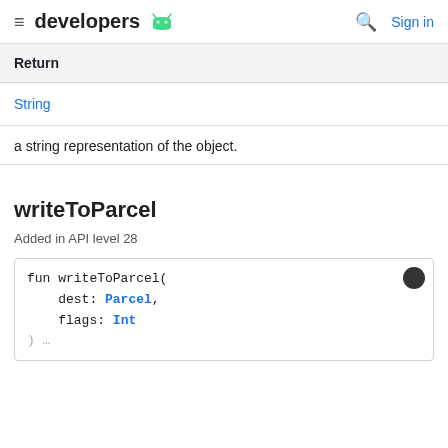≡ developers 🤖  🔍 Sign in
| Return |
| --- |
| String |
a string representation of the object.
writeToParcel
Added in API level 28
fun writeToParcel(
    dest: Parcel,
    flags: Int
)